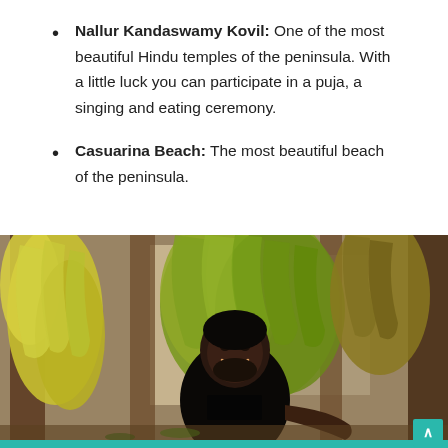Nallur Kandaswamy Kovil: One of the most beautiful Hindu temples of the peninsula. With a little luck you can participate in a puja, a singing and eating ceremony.
Casuarina Beach: The most beautiful beach of the peninsula.
[Figure (photo): A smiling young man with a beard standing in front of hanging bunches of green and yellow bananas in what appears to be a market or shop with a wooden structure in the background.]